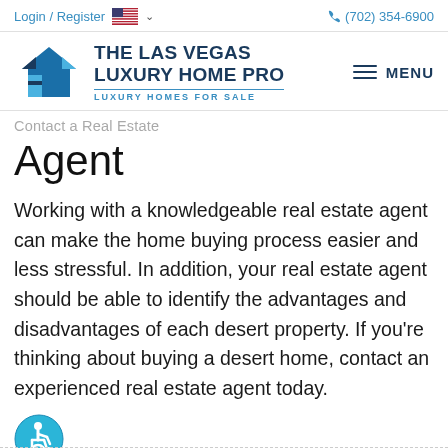Login / Register  🇺🇸 ∨   (702) 354-6900
[Figure (logo): The Las Vegas Luxury Home Pro logo with blue geometric house icon and text 'THE LAS VEGAS LUXURY HOME PRO — LUXURY HOMES FOR SALE']
Contact a Real Estate Agent
Working with a knowledgeable real estate agent can make the home buying process easier and less stressful. In addition, your real estate agent should be able to identify the advantages and disadvantages of each desert property. If you're thinking about buying a desert home, contact an experienced real estate agent today.
[Figure (illustration): Blue circle accessibility icon showing a person in a wheelchair]